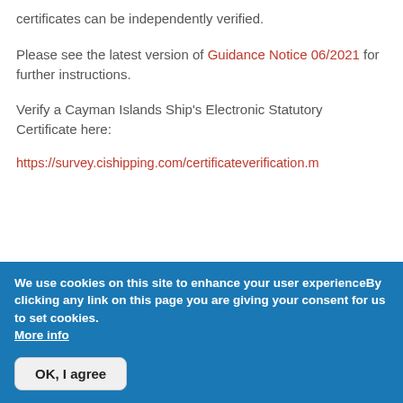certificates can be independently verified.
Please see the latest version of Guidance Notice 06/2021 for further instructions.
Verify a Cayman Islands Ship's Electronic Statutory Certificate here:
https://survey.cishipping.com/certificateverification.m
We use cookies on this site to enhance your user experienceBy clicking any link on this page you are giving your consent for us to set cookies. More info
OK, I agree